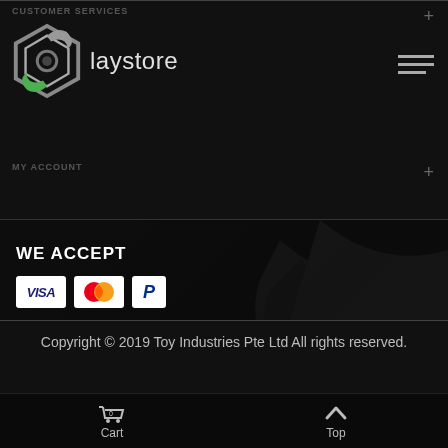CUSTOMER SERVICES
[Figure (logo): Laystore hexagonal logo in silver and green, with brand name 'laystore' in white]
MY ACCOUNT
WE ACCEPT
[Figure (other): Payment icons: VISA, Mastercard, PayPal]
FOLLOW US
[Figure (other): Facebook icon (f)]
Copyright © 2019 Toy Industries Pte Ltd All rights reserved.
Cart 0  Top